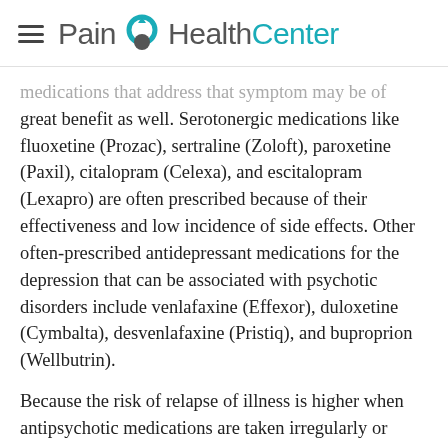Pain HealthCenter
medications that address that symptom may be of great benefit as well. Serotonergic medications like fluoxetine (Prozac), sertraline (Zoloft), paroxetine (Paxil), citalopram (Celexa), and escitalopram (Lexapro) are often prescribed because of their effectiveness and low incidence of side effects. Other often-prescribed antidepressant medications for the depression that can be associated with psychotic disorders include venlafaxine (Effexor), duloxetine (Cymbalta), desvenlafaxine (Pristiq), and buproprion (Wellbutrin).
Because the risk of relapse of illness is higher when antipsychotic medications are taken irregularly or discontinued, it is important that people with a psychotic disorder follow a treatment plan developed in collaboration with their doctors and with their families. The treatment plan will involve taking the